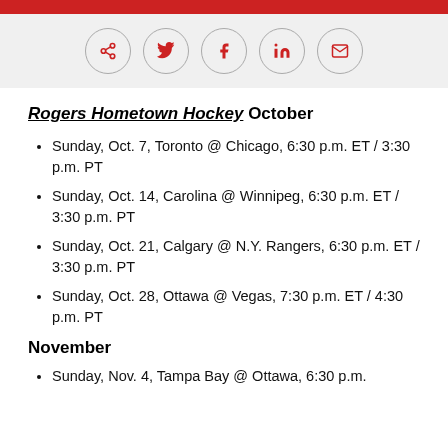[Figure (other): Social sharing icons: share, Twitter, Facebook, LinkedIn, email]
Rogers Hometown Hockey October
Sunday, Oct. 7, Toronto @ Chicago, 6:30 p.m. ET / 3:30 p.m. PT
Sunday, Oct. 14, Carolina @ Winnipeg, 6:30 p.m. ET / 3:30 p.m. PT
Sunday, Oct. 21, Calgary @ N.Y. Rangers, 6:30 p.m. ET / 3:30 p.m. PT
Sunday, Oct. 28, Ottawa @ Vegas, 7:30 p.m. ET / 4:30 p.m. PT
November
Sunday, Nov. 4, Tampa Bay @ Ottawa, 6:30 p.m.